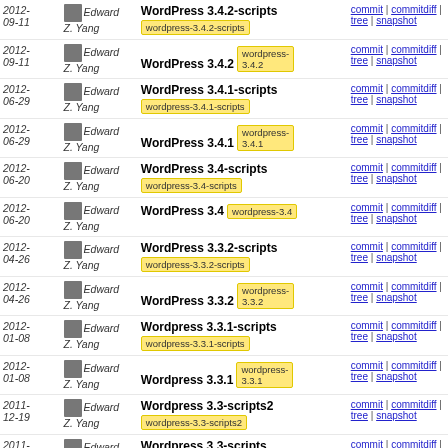| Date | Author | Commit Message | Links |
| --- | --- | --- | --- |
| 2012-09-11 | Edward Z. Yang | WordPress 3.4.2-scripts  wordpress-3.4.2-scripts | commit | commitdiff | tree | snapshot |
| 2012-09-11 | Edward Z. Yang | WordPress 3.4.2  wordpress-3.4.2 | commit | commitdiff | tree | snapshot |
| 2012-06-29 | Edward Z. Yang | WordPress 3.4.1-scripts  wordpress-3.4.1-scripts | commit | commitdiff | tree | snapshot |
| 2012-06-29 | Edward Z. Yang | WordPress 3.4.1  wordpress-3.4.1 | commit | commitdiff | tree | snapshot |
| 2012-06-20 | Edward Z. Yang | WordPress 3.4-scripts  wordpress-3.4-scripts | commit | commitdiff | tree | snapshot |
| 2012-06-20 | Edward Z. Yang | WordPress 3.4  wordpress-3.4 | commit | commitdiff | tree | snapshot |
| 2012-04-26 | Edward Z. Yang | WordPress 3.3.2-scripts  wordpress-3.3.2-scripts | commit | commitdiff | tree | snapshot |
| 2012-04-26 | Edward Z. Yang | WordPress 3.3.2  wordpress-3.3.2 | commit | commitdiff | tree | snapshot |
| 2012-01-08 | Edward Z. Yang | Wordpress 3.3.1-scripts  wordpress-3.3.1-scripts | commit | commitdiff | tree | snapshot |
| 2012-01-08 | Edward Z. Yang | Wordpress 3.3.1  wordpress-3.3.1 | commit | commitdiff | tree | snapshot |
| 2011-12-19 | Edward Z. Yang | Wordpress 3.3-scripts2  wordpress-3.3-scripts2 | commit | commitdiff | tree | snapshot |
| 2011-12-18 | Edward Z. Yang | Wordpress 3.3-scripts  wordpress-3.3-scripts | commit | commitdiff | tree | snapshot |
| 2011-12-18 | Edward Z. Yang | Wordpress 3.3  wordpress-3.3 | commit | commitdiff | tree | snapshot |